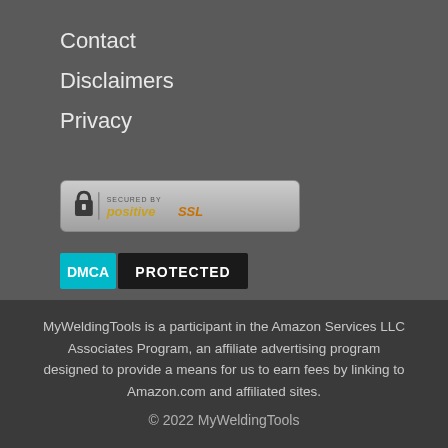Contact
Disclaimers
Privacy
[Figure (logo): Secured by PositiveSSL badge — gold and grey rounded rectangle badge with padlock icon and 'SECURED BY positive SSL' text]
[Figure (logo): DMCA Protected badge — black rectangle with teal 'DMCA' block and white 'PROTECTED' text]
MyWeldingTools is a participant in the Amazon Services LLC Associates Program, an affiliate advertising program designed to provide a means for us to earn fees by linking to Amazon.com and affiliated sites.
© 2022 MyWeldingTools